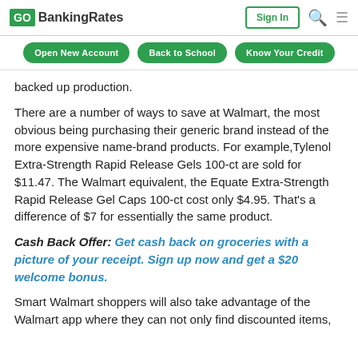GO BankingRates | Sign In | Search | Menu
Open New Account | Back to School | Know Your Credit
backed up production.
There are a number of ways to save at Walmart, the most obvious being purchasing their generic brand instead of the more expensive name-brand products. For example,Tylenol Extra-Strength Rapid Release Gels 100-ct are sold for $11.47. The Walmart equivalent, the Equate Extra-Strength Rapid Release Gel Caps 100-ct cost only $4.95. That’s a difference of $7 for essentially the same product.
Cash Back Offer: Get cash back on groceries with a picture of your receipt. Sign up now and get a $20 welcome bonus.
Smart Walmart shoppers will also take advantage of the Walmart app where they can not only find discounted items,